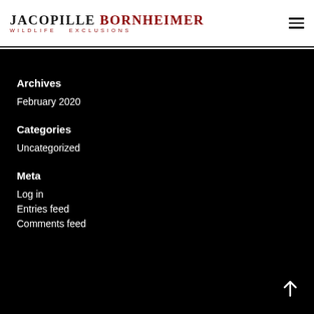JACOPILLE BORNHEIMER WILDLIFE EXCLUSIONS
Archives
February 2020
Categories
Uncategorized
Meta
Log in
Entries feed
Comments feed